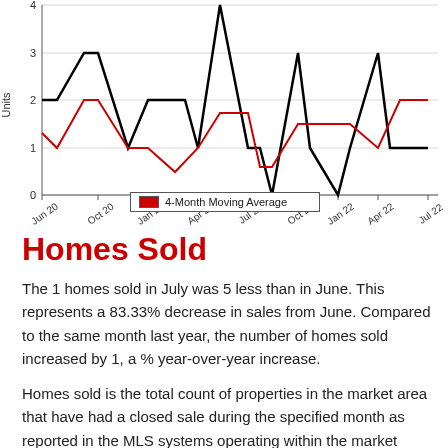[Figure (line-chart): Homes Sold]
4-Month Moving Average
Homes Sold
The 1 homes sold in July was 5 less than in June. This represents a 83.33% decrease in sales from June. Compared to the same month last year, the number of homes sold increased by 1, a % year-over-year increase.
Homes sold is the total count of properties in the market area that have had a closed sale during the specified month as reported in the MLS systems operating within the market